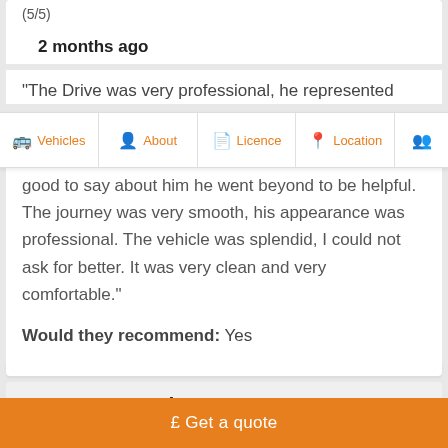(5/5)
2 months ago
“The Drive was very professional, he represented
Vehicles | About | Licence | Location
good to say about him he went beyond to be helpful. The journey was very smooth, his appearance was professional. The vehicle was splendid, I could not ask for better. It was very clean and very comfortable.”
Would they recommend: Yes
Customer, London
£ Get a quote